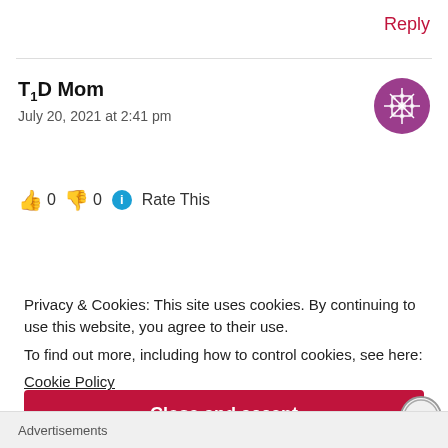Reply
T1D Mom
July 20, 2021 at 2:41 pm
👍 0 👎 0 ℹ Rate This
Privacy & Cookies: This site uses cookies. By continuing to use this website, you agree to their use.
To find out more, including how to control cookies, see here:
Cookie Policy
Close and accept
Advertisements